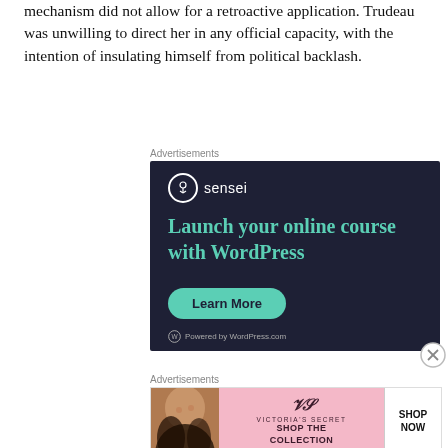mechanism did not allow for a retroactive application. Trudeau was unwilling to direct her in any official capacity, with the intention of insulating himself from political backlash.
[Figure (other): Advertisement for Sensei plugin — dark navy background with teal text reading 'Launch your online course with WordPress', a Learn More button, and Powered by WordPress.com footer]
[Figure (other): Victoria's Secret advertisement showing a woman model on pink background with 'SHOP THE COLLECTION' text and 'SHOP NOW' call-to-action button]